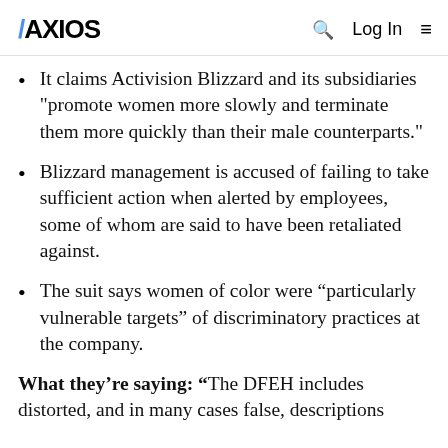AXIOS
It claims Activision Blizzard and its subsidiaries "promote women more slowly and terminate them more quickly than their male counterparts."
Blizzard management is accused of failing to take sufficient action when alerted by employees, some of whom are said to have been retaliated against.
The suit says women of color were “particularly vulnerable targets” of discriminatory practices at the company.
What they’re saying: “The DFEH includes distorted, and in many cases false, descriptions